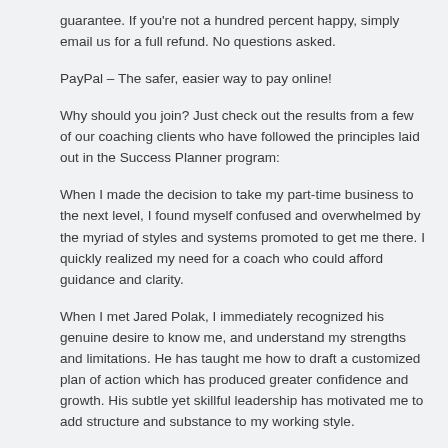guarantee. If you're not a hundred percent happy, simply email us for a full refund. No questions asked.
PayPal – The safer, easier way to pay online!
Why should you join? Just check out the results from a few of our coaching clients who have followed the principles laid out in the Success Planner program:
When I made the decision to take my part-time business to the next level, I found myself confused and overwhelmed by the myriad of styles and systems promoted to get me there. I quickly realized my need for a coach who could afford guidance and clarity.
When I met Jared Polak, I immediately recognized his genuine desire to know me, and understand my strengths and limitations. He has taught me how to draft a customized plan of action which has produced greater confidence and growth. His subtle yet skillful leadership has motivated me to add structure and substance to my working style.